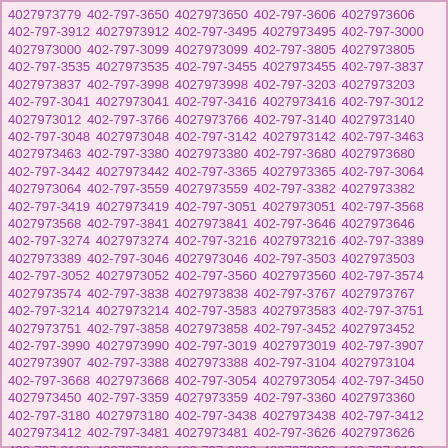4027973779 402-797-3650 4027973650 402-797-3606 4027973606 402-797-3912 4027973912 402-797-3495 4027973495 402-797-3000 4027973000 402-797-3099 4027973099 402-797-3805 4027973805 402-797-3535 4027973535 402-797-3455 4027973455 402-797-3837 4027973837 402-797-3998 4027973998 402-797-3203 4027973203 402-797-3041 4027973041 402-797-3416 4027973416 402-797-3012 4027973012 402-797-3766 4027973766 402-797-3140 4027973140 402-797-3048 4027973048 402-797-3142 4027973142 402-797-3463 4027973463 402-797-3380 4027973380 402-797-3680 4027973680 402-797-3442 4027973442 402-797-3365 4027973365 402-797-3064 4027973064 402-797-3559 4027973559 402-797-3382 4027973382 402-797-3419 4027973419 402-797-3051 4027973051 402-797-3568 4027973568 402-797-3841 4027973841 402-797-3646 4027973646 402-797-3274 4027973274 402-797-3216 4027973216 402-797-3389 4027973389 402-797-3046 4027973046 402-797-3503 4027973503 402-797-3052 4027973052 402-797-3560 4027973560 402-797-3574 4027973574 402-797-3838 4027973838 402-797-3767 4027973767 402-797-3214 4027973214 402-797-3583 4027973583 402-797-3751 4027973751 402-797-3858 4027973858 402-797-3452 4027973452 402-797-3990 4027973990 402-797-3019 4027973019 402-797-3907 4027973907 402-797-3388 4027973388 402-797-3104 4027973104 402-797-3668 4027973668 402-797-3054 4027973054 402-797-3450 4027973450 402-797-3359 4027973359 402-797-3360 4027973360 402-797-3180 4027973180 402-797-3438 4027973438 402-797-3412 4027973412 402-797-3481 4027973481 402-797-3626 4027973626 402-797-3189 4027973189 402-797-3909 4027973909 402-797-3168 4027973168 402-797-3210 4027973210 402-797-3600 4027973600